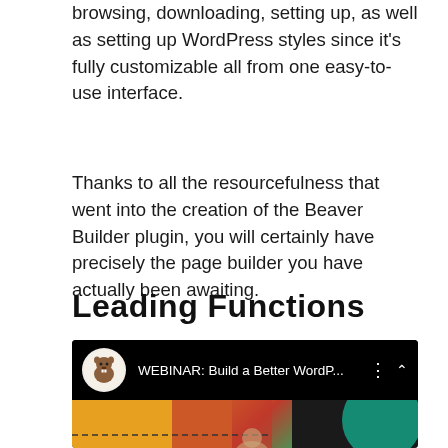browsing, downloading, setting up, as well as setting up WordPress styles since it's fully customizable all from one easy-to-use interface.
Thanks to all the resourcefulness that went into the creation of the Beaver Builder plugin, you will certainly have precisely the page builder you have actually been awaiting.
Leading Functions
[Figure (screenshot): YouTube/webinar video player screenshot showing 'WEBINAR: Build a Better WordP...' with a beaver logo avatar, video controls including dots menu and caret up button, and a partially visible thumbnail with colorful shapes.]